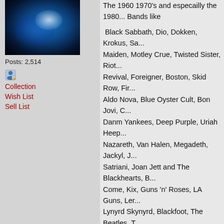[Figure (photo): Globe/Earth photo showing blue planet against dark space background]
Posts: 2,514
[Figure (illustration): Small user/person icon]
Collection
Wish List
Sell List
The 1960 1970's and especailly the 1980... Bands like

 Black Sabbath, Dio, Dokken, Krokus, Sa... Maiden, Motley Crue, Twisted Sister, Riot... Revival, Foreigner, Boston, Skid Row, Fir... Aldo Nova, Blue Oyster Cult, Bon Jovi, C... Danm Yankees, Deep Purple, Uriah Heep... Nazareth, Van Halen, Megadeth, Jackyl, J... Satriani, Joan Jett and The Blackhearts, B... Come, Kix, Guns 'n' Roses, LA Guns, Ler... Lynyrd Skynyrd, Blackfoot, The Beatles, T... Top, Blackfoot Sue, Mountain, Mr. Big, Qu... Quireboys, Gotthard, Ratt, Rainbow, Acco... Steppinwolf, Steelheart, Journey, Supertr... White Lion, Warrant, Whitesnake, Winger... Gary Moore, (etc)

to bands like

Pearl Jam, Korn, Alice In Chains, Nirvana... but I can't get into Pearl Jam like at all, an... completely after that point, But a few band... coming' but most just sucked after that in... I believe are starting to get better in the m...